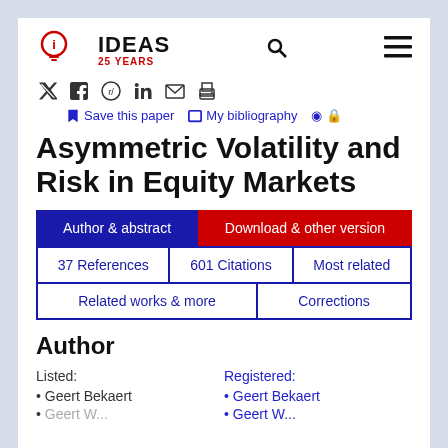IDEAS 25 YEARS
Save this paper  My bibliography
Asymmetric Volatility and Risk in Equity Markets
Author & abstract | Download & other version
37 References | 601 Citations | Most related
Related works & more | Corrections
Author
Listed:
• Geert Bekaert

Registered:
• Geert Bekaert